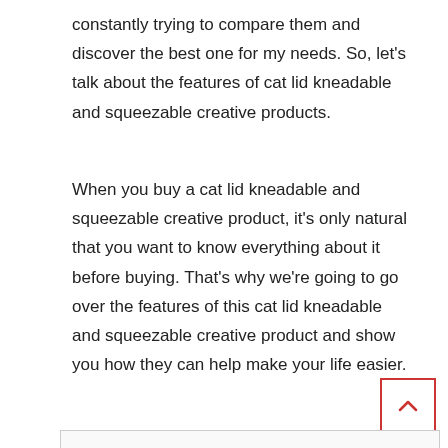constantly trying to compare them and discover the best one for my needs. So, let's talk about the features of cat lid kneadable and squeezable creative products.
When you buy a cat lid kneadable and squeezable creative product, it's only natural that you want to know everything about it before buying. That's why we're going to go over the features of this cat lid kneadable and squeezable creative product and show you how they can help make your life easier.